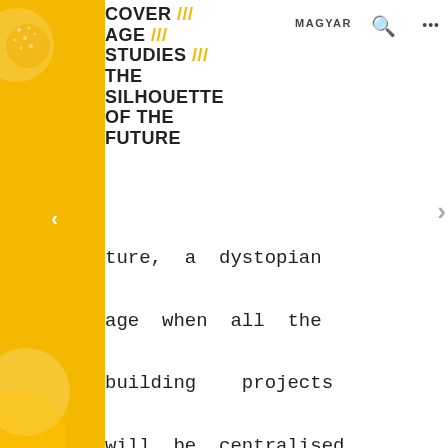COVER /// AGE /// STUDIES /// THE SILHOUETTE OF THE FUTURE
MAGYAR  🔍  •••
ture, a dystopian age when all the building projects will be centralised, when there will be no building stores, nor builders, when there will be no need for archi-tects. Robots and nanomachines will do the building under the superi-